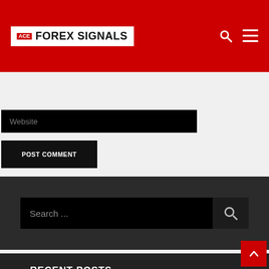ACE FOREX SIGNALS
Website
POST COMMENT
Search ...
RECENT POSTS